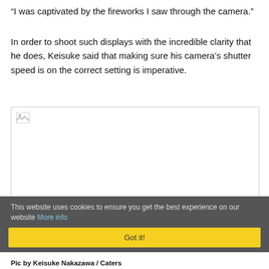“I was captivated by the fireworks I saw through the camera.”
In order to shoot such displays with the incredible clarity that he does, Keisuke said that making sure his camera’s shutter speed is on the correct setting is imperative.
[Figure (photo): A photo that failed to load, shown as a broken image placeholder in the top-left of a white rectangle.]
This website uses cookies to ensure you get the best experience on our website More info
Got it!
Pic by Keisuke Nakazawa / Caters